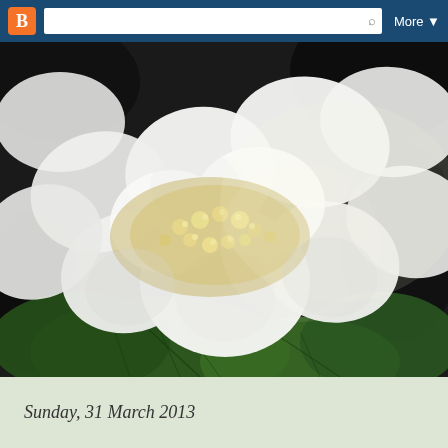Blogger navbar with search and More button
[Figure (photo): Close-up macro photograph of white hydrangea flowers with small cream-colored center florets and green textured leaves visible in the lower portion, against a dark background.]
Sunday, 31 March 2013